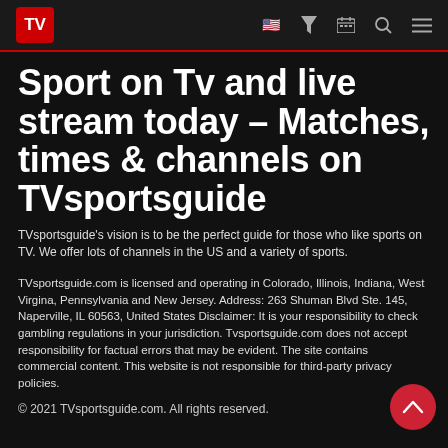TV [logo] | US flag icon | Filter icon | Calendar icon | Search icon | Menu icon
Sport on Tv and live stream today – Matches, times & channels on TVsportsguide
TVsportsguide's vision is to be the perfect guide for those who like sports on TV. We offer lots of channels in the US and a variety of sports.
TVsportsguide.com is licensed and operating in Colorado, Illinois, Indiana, West Virgina, Pennsylvania and New Jersey. Address: 263 Shuman Blvd Ste. 145, Naperville, IL 60563, United States Disclaimer: It is your responsibility to check gambling regulations in your jurisdiction. Tvsportsguide.com does not accept responsibility for factual errors that may be evident. The site contains commercial content. This website is not responsible for third-party privacy policies.
© 2021 TVsportsguide.com. All rights reserved.